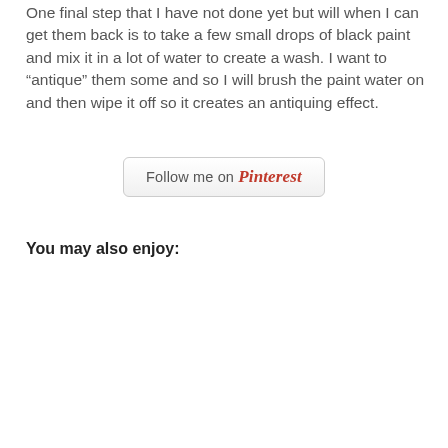One final step that I have not done yet but will when I can get them back is to take a few small drops of black paint and mix it in a lot of water to create a wash. I want to “antique” them some and so I will brush the paint water on and then wipe it off so it creates an antiquing effect.
[Figure (other): Follow me on Pinterest button — a rounded rectangle button with gray border and subtle gradient, containing text 'Follow me on Pinterest' where 'Pinterest' is styled in red italic script font.]
You may also enjoy: